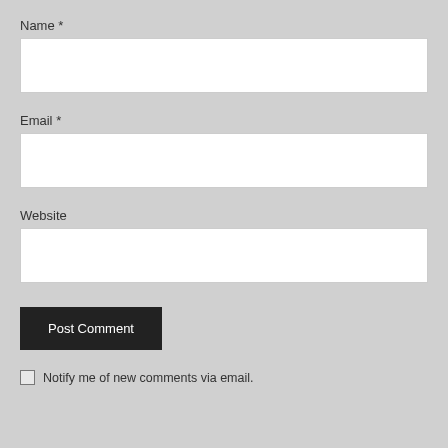Name *
[Figure (screenshot): Text input field for Name]
Email *
[Figure (screenshot): Text input field for Email]
Website
[Figure (screenshot): Text input field for Website]
[Figure (screenshot): Post Comment submit button]
Notify me of new comments via email.